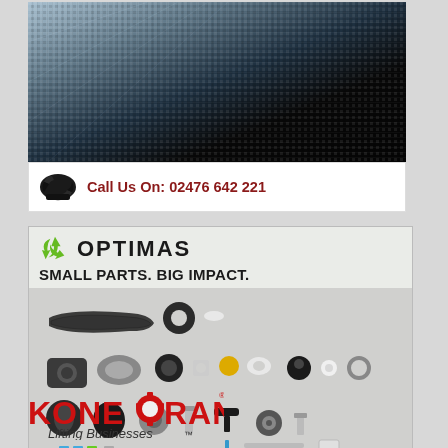[Figure (photo): Close-up texture image showing woven or mesh material transitioning from light grey/blue on the left to dark black on the right]
[Figure (photo): Phone/call us bar with vintage telephone icon and text 'Call Us On: 02476 642 221' in dark red]
[Figure (photo): Optimas advertisement with logo, tagline 'SMALL PARTS. BIG IMPACT.' and a photo of various small hardware components/parts, footer text 'OPTIMAS SOLUTIONS - COMPONENTS DIVISION' and website 'Web: optimascomponents.com']
[Figure (logo): Konecranes logo in red bold text with 'C' replaced by gear icon, subtitle 'Lifting Businesses' in italic]